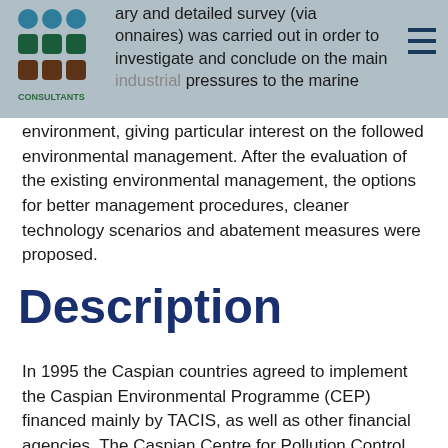ary and detailed survey (via onnaires) was carried out in order to investigate and conclude on the main industrial pressures to the marine environment, giving particular interest on the followed environmental management. After the evaluation of the existing environmental management, the options for better management procedures, cleaner technology scenarios and abatement measures were proposed.
Description
In 1995 the Caspian countries agreed to implement the Caspian Environmental Programme (CEP) financed mainly by TACIS, as well as other financial agencies. The Caspian Centre for Pollution Control